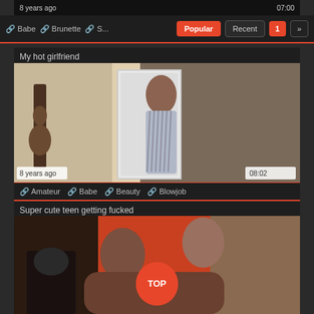8 years ago   07:00
Babe  Brunette  Popular  Recent  1  »
My hot girlfriend
[Figure (photo): Woman in striped dress near a door with guitar in background]
8 years ago   08:02
Amateur  Babe  Beauty  Blowjob
Super cute teen getting fucked
[Figure (photo): Couple kissing in an intimate scene against orange wall background]
TOP